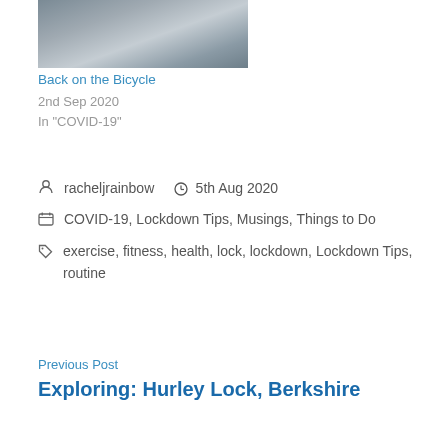[Figure (photo): Photograph of bicycles, partially visible at the top of the page]
Back on the Bicycle
2nd Sep 2020
In "COVID-19"
racheljrainbow   5th Aug 2020
COVID-19, Lockdown Tips, Musings, Things to Do
exercise, fitness, health, lock, lockdown, Lockdown Tips, routine
Previous Post
Exploring: Hurley Lock, Berkshire